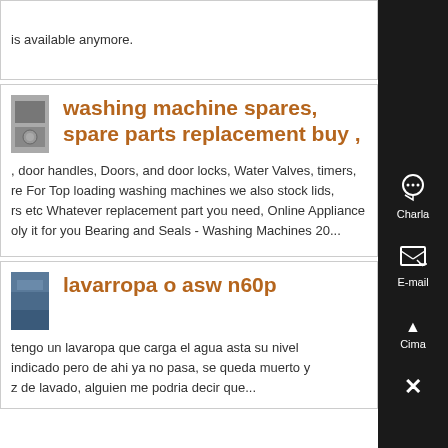is available anymore.
washing machine spares, spare parts replacement buy ,
, door handles, Doors, and door locks, Water Valves, timers, re For Top loading washing machines we also stock lids, rs etc Whatever replacement part you need, Online Appliance oly it for you Bearing and Seals - Washing Machines 20...
lavarropa o asw n60p
tengo un lavaropa que carga el agua asta su nivel indicado pero de ahi ya no pasa, se queda muerto y z de lavado, alguien me podria decir que...